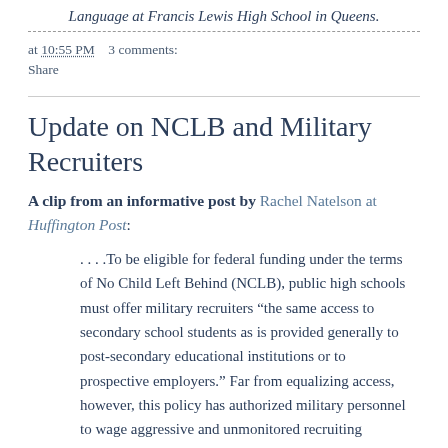Language at Francis Lewis High School in Queens.
at 10:55 PM    3 comments:
Share
Update on NCLB and Military Recruiters
A clip from an informative post by Rachel Natelson at Huffington Post:
. . . .To be eligible for federal funding under the terms of No Child Left Behind (NCLB), public high schools must offer military recruiters "the same access to secondary school students as is provided generally to post-secondary educational institutions or to prospective employers." Far from equalizing access, however, this policy has authorized military personnel to wage aggressive and unmonitored recruiting campaigns in the schools least likely to promote college and civilian employment opportunities.